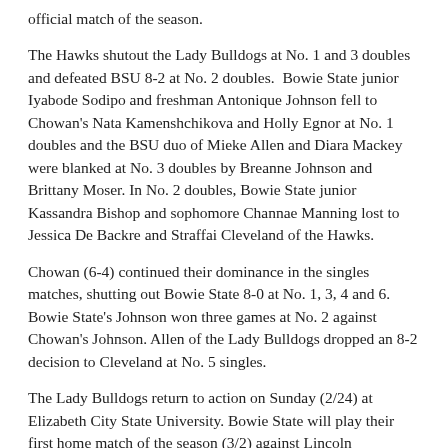official match of the season.
The Hawks shutout the Lady Bulldogs at No. 1 and 3 doubles and defeated BSU 8-2 at No. 2 doubles. Bowie State junior Iyabode Sodipo and freshman Antonique Johnson fell to Chowan’s Nata Kamenshchikova and Holly Egnor at No. 1 doubles and the BSU duo of Mieke Allen and Diara Mackey were blanked at No. 3 doubles by Breanne Johnson and Brittany Moser. In No. 2 doubles, Bowie State junior Kassandra Bishop and sophomore Channae Manning lost to Jessica De Backre and Straffai Cleveland of the Hawks.
Chowan (6-4) continued their dominance in the singles matches, shutting out Bowie State 8-0 at No. 1, 3, 4 and 6. Bowie State’s Johnson won three games at No. 2 against Chowan’s Johnson. Allen of the Lady Bulldogs dropped an 8-2 decision to Cleveland at No. 5 singles.
The Lady Bulldogs return to action on Sunday (2/24) at Elizabeth City State University. Bowie State will play their first home match of the season (3/2) against Lincoln University of Pennsylvania. Match time is slated for 1 pm against the Lady Lions.